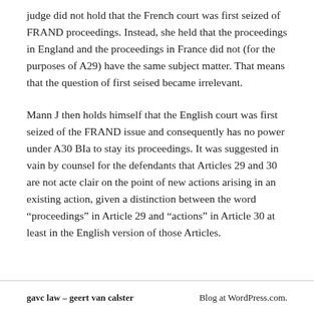judge did not hold that the French court was first seized of FRAND proceedings. Instead, she held that the proceedings in England and the proceedings in France did not (for the purposes of A29) have the same subject matter. That means that the question of first seised became irrelevant.
Mann J then holds himself that the English court was first seized of the FRAND issue and consequently has no power under A30 BIa to stay its proceedings. It was suggested in vain by counsel for the defendants that Articles 29 and 30 are not acte clair on the point of new actions arising in an existing action, given a distinction between the word “proceedings” in Article 29 and “actions” in Article 30 at least in the English version of those Articles.
gavc law – geert van calster | Blog at WordPress.com.